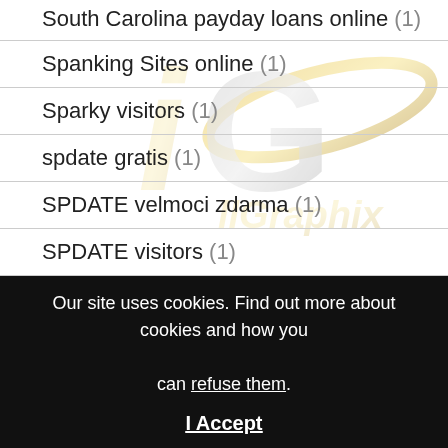South Carolina payday loans online (1)
Spanking Sites online (1)
Sparky visitors (1)
spdate gratis (1)
SPDATE velmoci zdarma (1)
SPDATE visitors (1)
spiritual dating review (1)
[Figure (logo): illGraphix watermark logo — gold and silver stylized letters iG with orbital ellipse and 'illGraphix' text, repeated twice at top and bottom of content area]
Our site uses cookies. Find out more about cookies and how you can refuse them.
I Accept